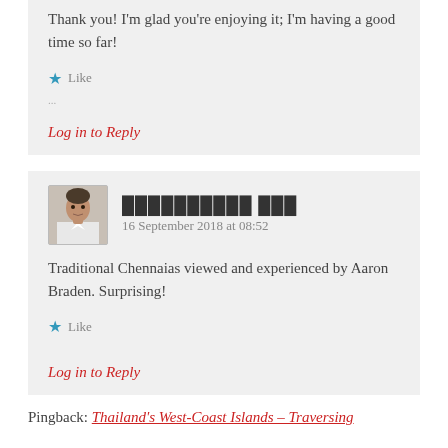Thank you! I'm glad you're enjoying it; I'm having a good time so far!
Like
Log in to Reply
[Figure (photo): Avatar photo of a man in a light shirt]
██████████ ███  16 September 2018 at 08:52
Traditional Chennaias viewed and experienced by Aaron Braden. Surprising!
Like
Log in to Reply
Pingback: Thailand's West-Coast Islands – Traversing